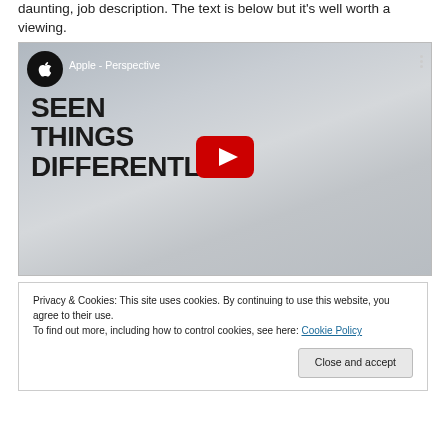daunting, job description. The text is below but it's well worth a viewing.
[Figure (screenshot): YouTube video thumbnail for 'Apple - Perspective' showing a large white industrial space with bold text 'SEEN THINGS DIFFERENTLY.' overlaid, Apple logo in top-left circle, video title 'Apple - Perspective', and a red YouTube play button in the center.]
Privacy & Cookies: This site uses cookies. By continuing to use this website, you agree to their use.
To find out more, including how to control cookies, see here: Cookie Policy
Close and accept